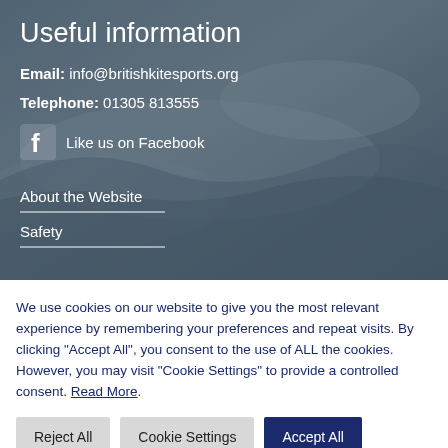[Figure (photo): Background photo of sandy beach with footprints and icy/snowy texture, overlaid with a dark tint]
Useful information
Email: info@britishkitesports.org
Telephone: 01305 813555
Like us on Facebook
About the Website
Safety
We use cookies on our website to give you the most relevant experience by remembering your preferences and repeat visits. By clicking “Accept All”, you consent to the use of ALL the cookies. However, you may visit "Cookie Settings" to provide a controlled consent. Read More.
Reject All | Cookie Settings | Accept All